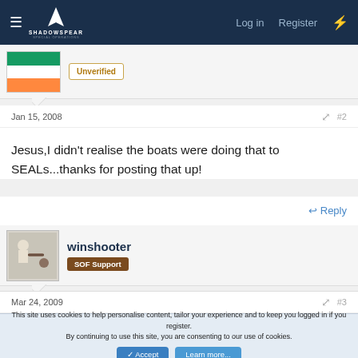ShadowSpear Special Operations | Log in | Register
Unverified
Jan 15, 2008  #2
Jesus,I didn't realise the boats were doing that to SEALs...thanks for posting that up!
Reply
winshooter
SOF Support
Mar 24, 2009  #3
This site uses cookies to help personalise content, tailor your experience and to keep you logged in if you register.
By continuing to use this site, you are consenting to our use of cookies.